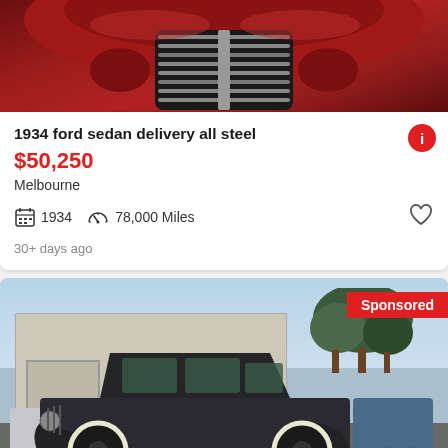[Figure (photo): Close-up front view of a 1934 Ford sedan delivery, dark red/maroon color, showing the chrome grille and hood]
1934 ford sedan delivery all steel
$50,250
Melbourne
1934   78,000 Miles
30+ days ago
[Figure (photo): Side profile photo of a Used 1934 Plymouth 4 Door dark blue/black classic car parked in a lot, with a Sponsored badge and See photo button overlay]
Used 1934 Plymouth 4 Door for sale